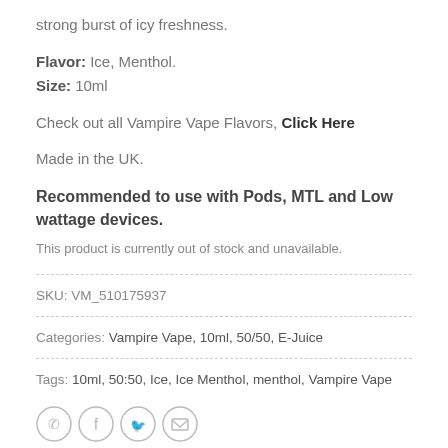strong burst of icy freshness.
Flavor: Ice, Menthol.
Size: 10ml
Check out all Vampire Vape Flavors, Click Here
Made in the UK.
Recommended to use with Pods, MTL and Low wattage devices.
This product is currently out of stock and unavailable.
SKU: VM_510175937
Categories: Vampire Vape, 10ml, 50/50, E-Juice
Tags: 10ml, 50:50, Ice, Ice Menthol, menthol, Vampire Vape
[Figure (illustration): Social sharing icons: WhatsApp, Facebook, Twitter, Email]